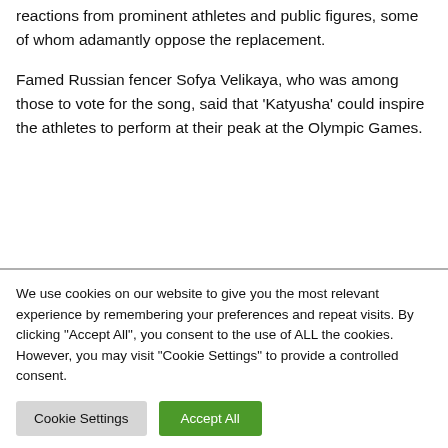reactions from prominent athletes and public figures, some of whom adamantly oppose the replacement.
Famed Russian fencer Sofya Velikaya, who was among those to vote for the song, said that 'Katyusha' could inspire the athletes to perform at their peak at the Olympic Games.
We use cookies on our website to give you the most relevant experience by remembering your preferences and repeat visits. By clicking "Accept All", you consent to the use of ALL the cookies. However, you may visit "Cookie Settings" to provide a controlled consent.